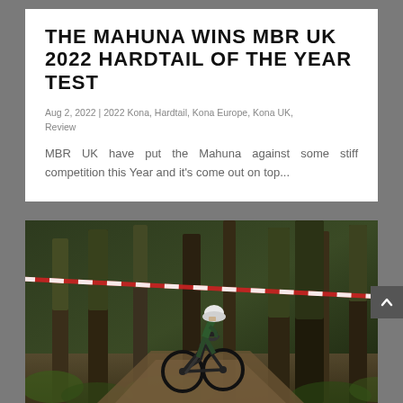THE MAHUNA WINS MBR UK 2022 HARDTAIL OF THE YEAR TEST
Aug 2, 2022 | 2022 Kona, Hardtail, Kona Europe, Kona UK, Review
MBR UK have put the Mahuna against some stiff competition this Year and it's come out on top...
[Figure (photo): A mountain biker in a green jersey and white helmet riding a dark mountain bike downhill through a dense mossy forest trail, with red and white race tape across the trail.]